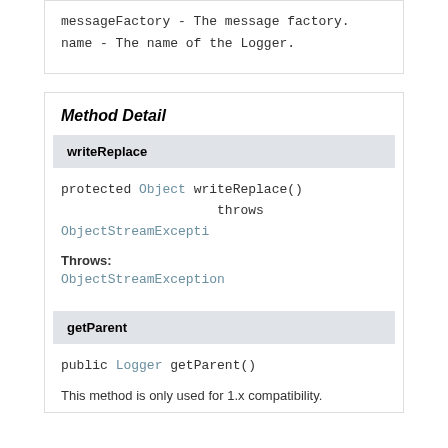messageFactory - The message factory.
name - The name of the Logger.
Method Detail
writeReplace
protected Object writeReplace()
                    throws ObjectStreamException
Throws:
ObjectStreamException
getParent
public Logger getParent()
This method is only used for 1.x compatibility.